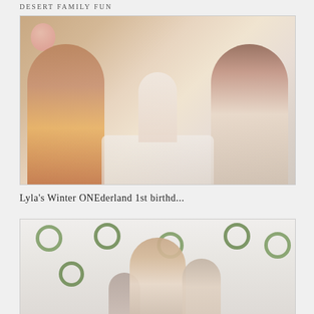Desert Family Fun
[Figure (photo): A family photo showing a man on the left wearing a plaid shirt and a woman on the right with long hair, both blowing out a birthday candle for a baby girl sitting in a high chair decorated with tulle, at what appears to be a first birthday party with balloons and a cake in the background.]
Lyla's Winter ONEderland 1st birthd...
[Figure (photo): A studio family portrait showing a mother with long blonde hair, a toddler girl with a dark bow headband, and a young child at the bottom, posed in front of a white wall decorated with multiple small green wreath ornaments arranged in an arc pattern.]